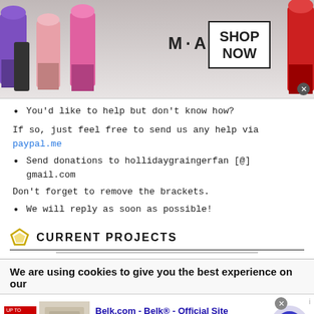[Figure (illustration): MAC cosmetics advertisement banner showing colorful lipsticks, MAC logo, and a SHOP NOW button with a close X icon]
You'd like to help but don't know how?
If so, just feel free to send us any help via paypal.me
Send donations to hollidaygraingerfan [@] gmail.com
Don't forget to remove the brackets.
We will reply as soon as possible!
CURRENT PROJECTS
We are using cookies to give you the best experience on our
[Figure (illustration): Belk.com advertisement banner with Belk logo, product image, description text, website URL, and navigation arrow button]